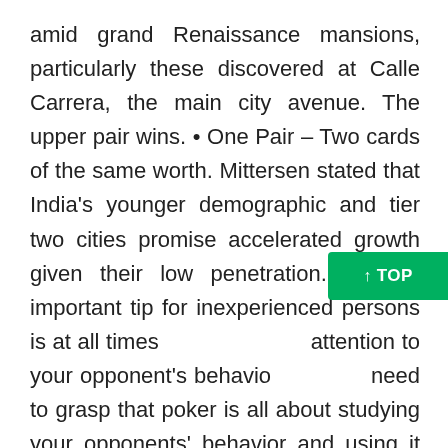amid grand Renaissance mansions, particularly these discovered at Calle Carrera, the main city avenue. The upper pair wins. • One Pair – Two cards of the same worth. Mittersen stated that India's younger demographic and tier two cities promise accelerated growth given their low penetration. Another important tip for inexperienced persons is at all times [pay] attention to your opponent's behavior [you] need to grasp that poker is all about studying your opponents' behavior and using it against them if doable.